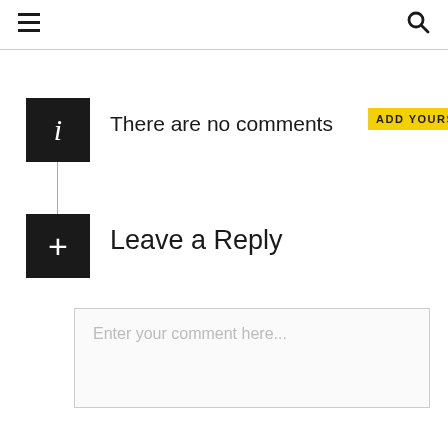≡  🔍
There are no comments  ADD YOURS
Leave a Reply
Enter your comment here...